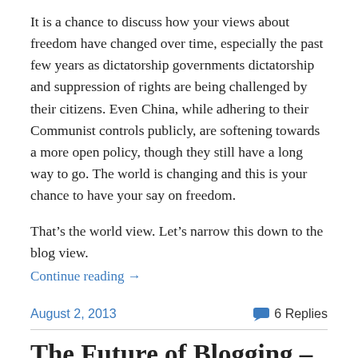It is a chance to discuss how your views about freedom have changed over time, especially the past few years as dictatorship governments dictatorship and suppression of rights are being challenged by their citizens. Even China, while adhering to their Communist controls publicly, are softening towards a more open policy, though they still have a long way to go. The world is changing and this is your chance to have your say on freedom.
That’s the world view. Let’s narrow this down to the blog view.
Continue reading →
August 2, 2013
6 Replies
The Future of Blogging – With